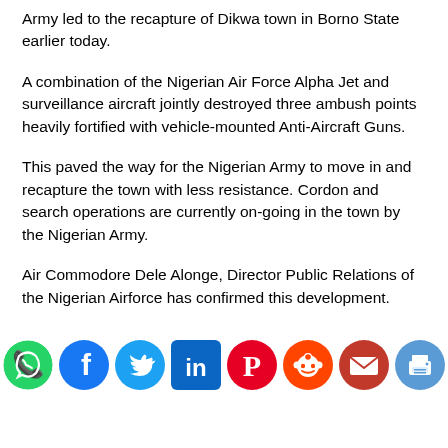Army led to the recapture of Dikwa town in Borno State earlier today.
A combination of the Nigerian Air Force Alpha Jet and surveillance aircraft jointly destroyed three ambush points heavily fortified with vehicle-mounted Anti-Aircraft Guns.
This paved the way for the Nigerian Army to move in and recapture the town with less resistance. Cordon and search operations are currently on-going in the town by the Nigerian Army.
Air Commodore Dele Alonge, Director Public Relations of the Nigerian Airforce has confirmed this development.
[Figure (infographic): Social media share icons row: WhatsApp (green circle with phone), Facebook (dark blue circle with f), Twitter (blue bird), LinkedIn (dark blue square with in), Pinterest (red circle with P), Reddit (orange circle with alien), Email (red envelope), Print (blue printer)]